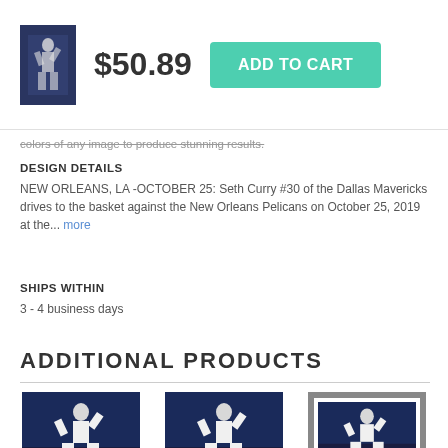$50.89  ADD TO CART
colors of any image to produce stunning results.
DESIGN DETAILS
NEW ORLEANS, LA -OCTOBER 25: Seth Curry #30 of the Dallas Mavericks drives to the basket against the New Orleans Pelicans on October 25, 2019 at the... more
SHIPS WITHIN
3 - 4 business days
ADDITIONAL PRODUCTS
[Figure (photo): Basketball player jumping to shoot, NBA game action photo]
[Figure (photo): Basketball player jumping to shoot, NBA game action photo]
[Figure (photo): Basketball player jumping to shoot, NBA game action photo, framed]